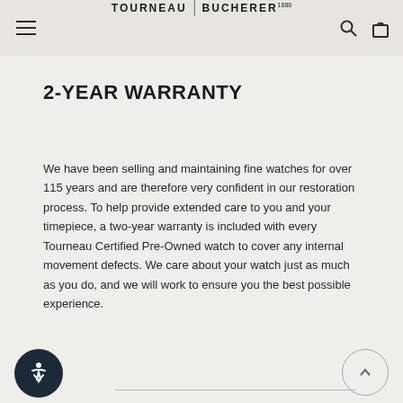TOURNEAU | BUCHERER
2-YEAR WARRANTY
We have been selling and maintaining fine watches for over 115 years and are therefore very confident in our restoration process. To help provide extended care to you and your timepiece, a two-year warranty is included with every Tourneau Certified Pre-Owned watch to cover any internal movement defects. We care about your watch just as much as you do, and we will work to ensure you the best possible experience.